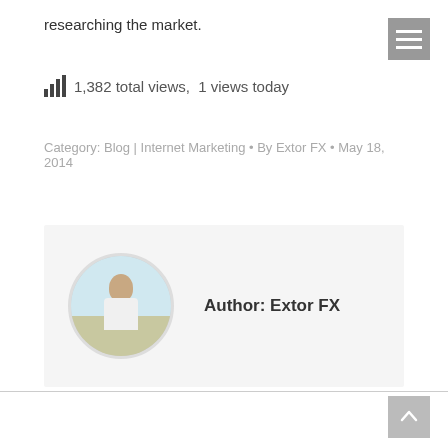researching the market.
1,382 total views,  1 views today
Category: Blog | Internet Marketing • By Extor FX • May 18, 2014
[Figure (photo): Author profile photo of Extor FX — a person standing on a road, circular crop]
Author: Extor FX